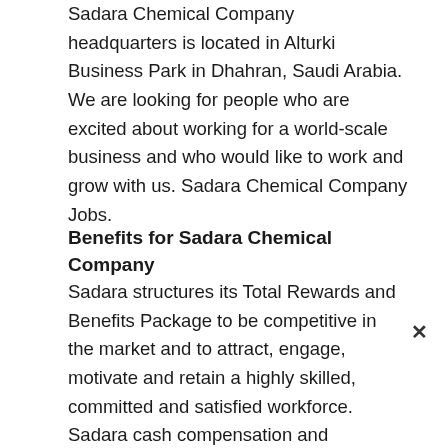Sadara Chemical Company headquarters is located in Alturki Business Park in Dhahran, Saudi Arabia. We are looking for people who are excited about working for a world-scale business and who would like to work and grow with us. Sadara Chemical Company Jobs.
Benefits for Sadara Chemical Company
Sadara structures its Total Rewards and Benefits Package to be competitive in the market and to attract, engage, motivate and retain a highly skilled, committed and satisfied workforce. Sadara cash compensation and benefits packages reflect Sadara's commitment to our world-class workforce. Cash compensation includes competitive base pay and incentive programs that reward